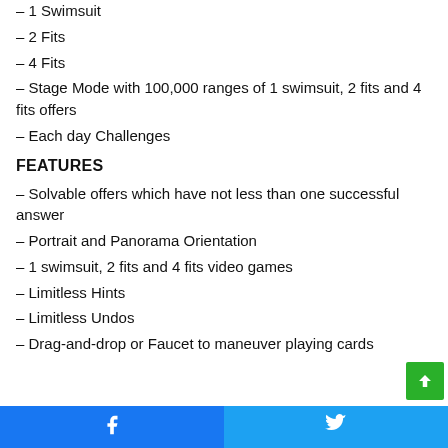– 1 Swimsuit
– 2 Fits
– 4 Fits
– Stage Mode with 100,000 ranges of 1 swimsuit, 2 fits and 4 fits offers
– Each day Challenges
FEATURES
– Solvable offers which have not less than one successful answer
– Portrait and Panorama Orientation
– 1 swimsuit, 2 fits and 4 fits video games
– Limitless Hints
– Limitless Undos
– Drag-and-drop or Faucet to maneuver playing cards
Facebook | Twitter